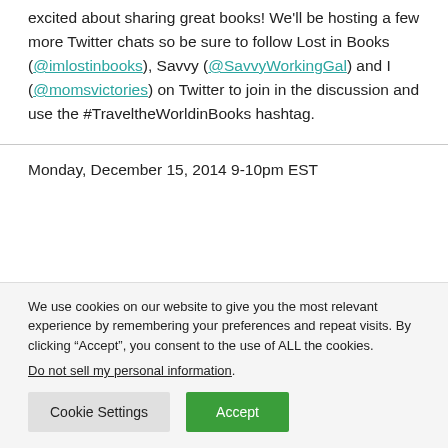excited about sharing great books! We'll be hosting a few more Twitter chats so be sure to follow Lost in Books (@imlostinbooks), Savvy (@SavvyWorkingGal) and I (@momsvictories) on Twitter to join in the discussion and use the #TraveltheWorldinBooks hashtag.
Monday, December 15, 2014 9-10pm EST
We use cookies on our website to give you the most relevant experience by remembering your preferences and repeat visits. By clicking “Accept”, you consent to the use of ALL the cookies.
Do not sell my personal information.